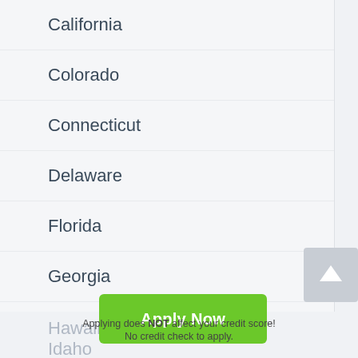California
Colorado
Connecticut
Delaware
Florida
Georgia
Hawaii
Idaho
Apply Now
Applying does NOT affect your credit score! No credit check to apply.